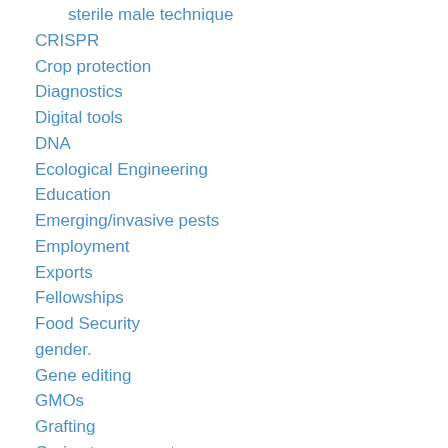sterile male technique
CRISPR
Crop protection
Diagnostics
Digital tools
DNA
Ecological Engineering
Education
Emerging/invasive pests
Employment
Exports
Fellowships
Food Security
gender.
Gene editing
GMOs
Grafting
Grain storage pests
Grants
Honey bees